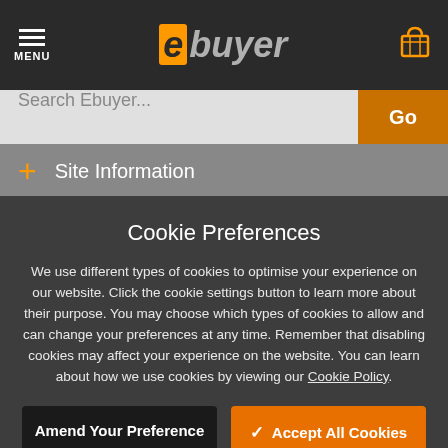[Figure (screenshot): Ebuyer website navigation bar with hamburger menu icon and MENU label on the left, ebuyer logo in center, shopping cart icon on the right, all on dark background]
[Figure (screenshot): Search bar with 'Search Ebuyer...' placeholder text and orange 'Go' button]
Site Information
Cookie Preferences
We use different types of cookies to optimise your experience on our website. Click the cookie settings button to learn more about their purpose. You may choose which types of cookies to allow and can change your preferences at any time. Remember that disabling cookies may affect your experience on the website. You can learn about how we use cookies by viewing our Cookie Policy.
Amend Your Preference
✓ Accept All Cookies